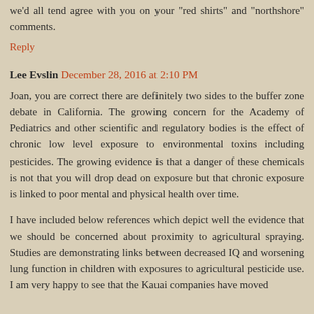we'd all tend agree with you on your "red shirts" and "northshore" comments.
Reply
Lee Evslin  December 28, 2016 at 2:10 PM
Joan, you are correct there are definitely two sides to the buffer zone debate in California. The growing concern for the Academy of Pediatrics and other scientific and regulatory bodies is the effect of chronic low level exposure to environmental toxins including pesticides. The growing evidence is that a danger of these chemicals is not that you will drop dead on exposure but that chronic exposure is linked to poor mental and physical health over time.
I have included below references which depict well the evidence that we should be concerned about proximity to agricultural spraying. Studies are demonstrating links between decreased IQ and worsening lung function in children with exposures to agricultural pesticide use. I am very happy to see that the Kauai companies have moved